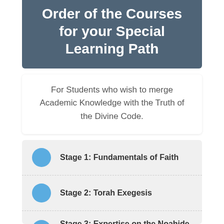Order of the Courses for your Special Learning Path
For Students who wish to merge Academic Knowledge with the Truth of the Divine Code.
Stage 1: Fundamentals of Faith
Stage 2: Torah Exegesis
Stage 3: Expertise on the Noahide Code